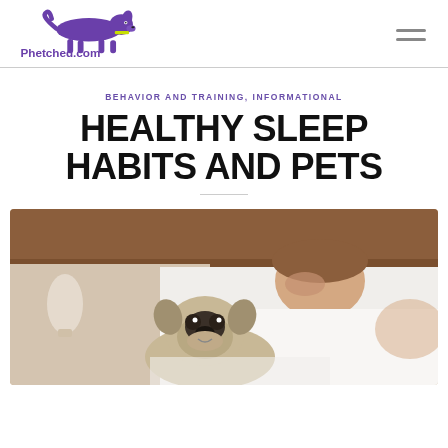Phetched.com
BEHAVIOR AND TRAINING, INFORMATIONAL
HEALTHY SLEEP HABITS AND PETS
[Figure (photo): A person sleeping in a bed with a pug dog resting near them on white bedding, with a wooden headboard and bedside lamp visible in the background.]